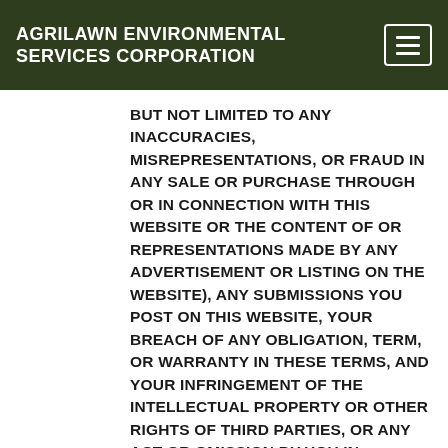AGRILAWN ENVIRONMENTAL SERVICES CORPORATION
BUT NOT LIMITED TO ANY INACCURACIES, MISREPRESENTATIONS, OR FRAUD IN ANY SALE OR PURCHASE THROUGH OR IN CONNECTION WITH THIS WEBSITE OR THE CONTENT OF OR REPRESENTATIONS MADE BY ANY ADVERTISEMENT OR LISTING ON THE WEBSITE), ANY SUBMISSIONS YOU POST ON THIS WEBSITE, YOUR BREACH OF ANY OBLIGATION, TERM, OR WARRANTY IN THESE TERMS, AND YOUR INFRINGEMENT OF THE INTELLECTUAL PROPERTY OR OTHER RIGHTS OF THIRD PARTIES, OR ANY ACT OR OMISSION BY YOU IN VIOLATION OF THESE TERMS, OR OF ANY APPLICABLE LAW OR REGULATION; AND (4) WE EXPRESSLY RESERVE THE RIGHT, AT OUR SOLE AND COMPLETE DISCRETION AND AT OUR OWN